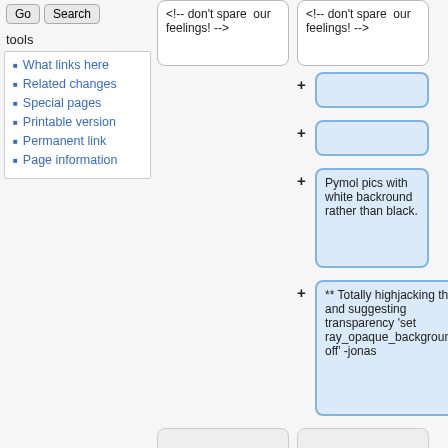What links here
Related changes
Special pages
Printable version
Permanent link
Page information
<!-- don't spare  our feelings! -->
<!-- don't spare  our feelings! -->
Pymol pics with white backround rather than black.
** Totally highjacking this and suggesting transparency 'set ray_opaque_background, off' -jonas
==positive feedback==
==positive feedback==
<!-- tell us what you like here -->
<!-- tell us what you like here -->